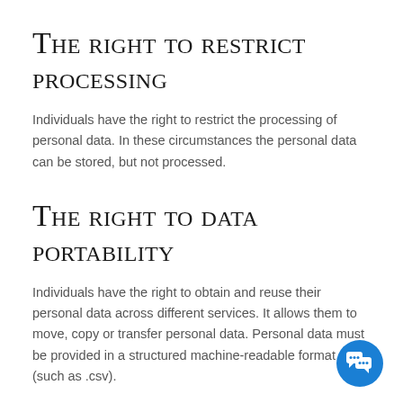The right to restrict processing
Individuals have the right to restrict the processing of personal data. In these circumstances the personal data can be stored, but not processed.
The right to data portability
Individuals have the right to obtain and reuse their personal data across different services. It allows them to move, copy or transfer personal data. Personal data must be provided in a structured machine-readable format (such as .csv).
The right to object